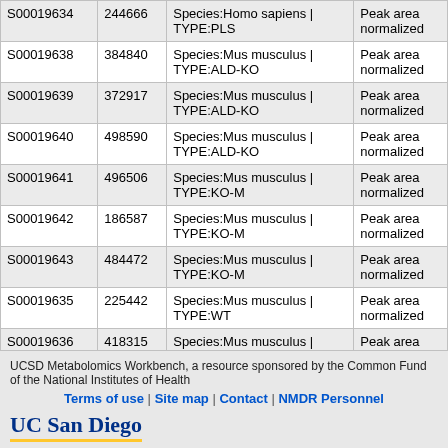|  |  | Species/Type | Measurement |
| --- | --- | --- | --- |
| S00019634 | 244666 | Species:Homo sapiens | TYPE:PLS | Peak area normalized |
| S00019638 | 384840 | Species:Mus musculus | TYPE:ALD-KO | Peak area normalized |
| S00019639 | 372917 | Species:Mus musculus | TYPE:ALD-KO | Peak area normalized |
| S00019640 | 498590 | Species:Mus musculus | TYPE:ALD-KO | Peak area normalized |
| S00019641 | 496506 | Species:Mus musculus | TYPE:KO-M | Peak area normalized |
| S00019642 | 186587 | Species:Mus musculus | TYPE:KO-M | Peak area normalized |
| S00019643 | 484472 | Species:Mus musculus | TYPE:KO-M | Peak area normalized |
| S00019635 | 225442 | Species:Mus musculus | TYPE:WT | Peak area normalized |
| S00019636 | 418315 | Species:Mus musculus | TYPE:WT | Peak area normalized |
| S00019637 | 416594 | Species:Mus musculus | TYPE:WT | Peak area normalized |
Return to Metabolite table
UCSD Metabolomics Workbench, a resource sponsored by the Common Fund of the National Institutes of Health | Terms of use | Site map | Contact | NMDR Personnel | UC San Diego